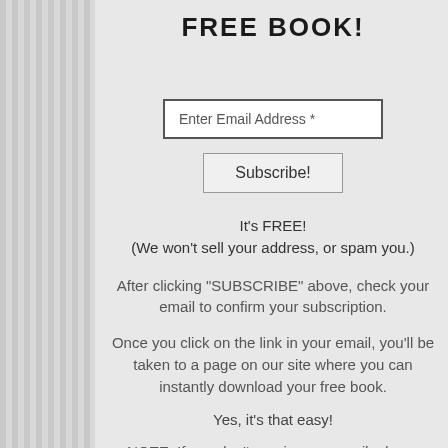FREE BOOK!
Enter Email Address *
Subscribe!
It's FREE!
(We won't sell your address, or spam you.)
After clicking "SUBSCRIBE" above, check your email to confirm your subscription.
Once you click on the link in your email, you'll be taken to a page on our site where you can instantly download your free book.
Yes, it's that easy!
NOTE: If you don't receive our email, please check your spam filters. Please whitelist emails coming from